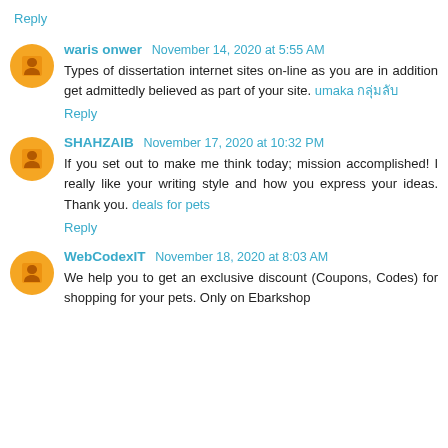Reply
waris onwer November 14, 2020 at 5:55 AM
Types of dissertation internet sites on-line as you are in addition get admittedly believed as part of your site. umaka กลุ่มลับ
Reply
SHAHZAIB November 17, 2020 at 10:32 PM
If you set out to make me think today; mission accomplished! I really like your writing style and how you express your ideas. Thank you. deals for pets
Reply
WebCodexIT November 18, 2020 at 8:03 AM
We help you to get an exclusive discount (Coupons, Codes) for shopping for your pets. Only on Ebarkshop